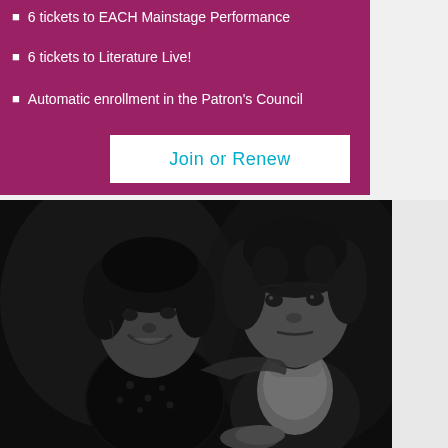6 tickets to EACH Mainstage Performance
6 tickets to Literature Live!
Automatic enrollment in the Patron's Council
Join or Renew
[Figure (photo): Black and white photograph of two women. The woman on the left is smiling broadly and appears to have her arm around the woman on the right. The woman on the right has a more serious expression and is looking forward. Both women have natural afro-style hair.]